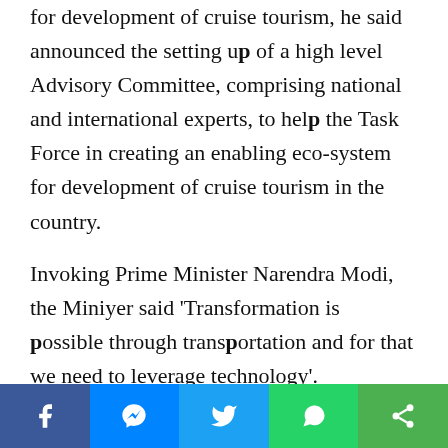for development of cruise tourism, he said announced the setting up of a high level Advisory Committee, comprising national and international experts, to help the Task Force in creating an enabling eco-system for development of cruise tourism in the country.

Invoking Prime Minister Narendra Modi, the Miniyer said 'Transformation is possible through transportation and for that we need to leverage technology'. Emphasising on the importance of Ports, the Prime Minister had said that Port led development can help in developing a comprehensive eco-system of transport and
[Figure (other): Social media sharing bar with Facebook, Messenger, Twitter, WhatsApp, and Share buttons]